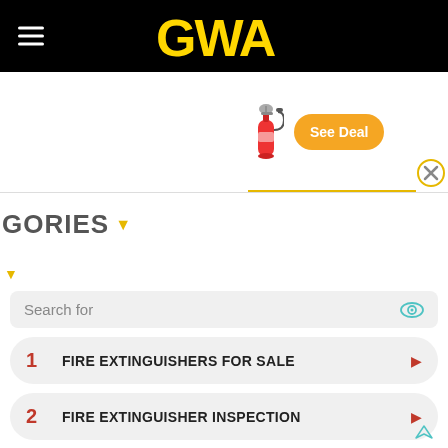GWA
[Figure (screenshot): Ad banner with fire extinguisher image and orange 'See Deal' button, with a yellow-bordered close X button]
GORIES ▾
▾
Search for
1  FIRE EXTINGUISHERS FOR SALE
2  FIRE EXTINGUISHER INSPECTION